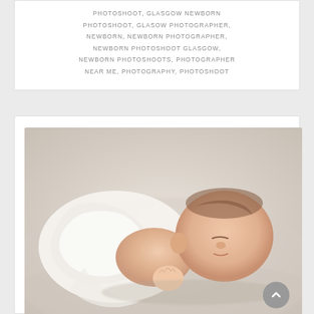PHOTOSHOOT, GLASGOW NEWBORN PHOTOSHOOT, GLASOW PHOTOGRAPHER, NEWBORN, NEWBORN PHOTOGRAPHER, NEWBORN PHOTOSHOOT GLASGOW, NEWBORN PHOTOSHOOTS, PHOTOGRAPHER NEAR ME, PHOTOGRAPHY, PHOTOSHOOT
[Figure (photo): A sleeping newborn baby wrapped loosely in a white cloth, resting on a cream/beige textured surface, photographed from above at an angle. Professional newborn photography style with soft lighting.]